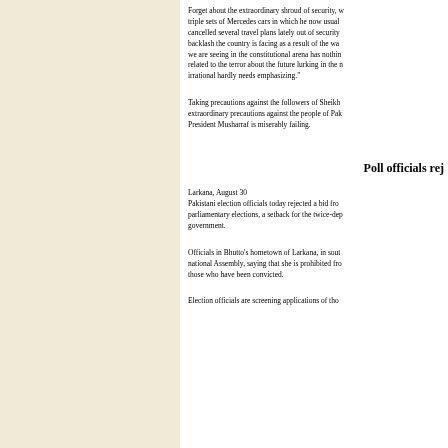Forget about the extraordinary shroud of security, triple sets of Mercedes cars in which he now usually cancelled several travel plans lately out of security backlash the country is facing as a result of the wa we are seeing in the constitutional arena has nothir related to the terror about the future lurking in the irrational hardly needs emphasizing."
Taking precautions against the followers of Sheikh extraordinary precautions against the people of Pak President Musharraf is miserably failing.
Poll officials rej
Larkana, August 30
Pakistani election officials today rejected a bid fro parliamentary elections, a setback for the twice-de government.
Officials in Bhutto's hometown of Larkana, in sout national Assembly, saying that she is prohibited fro those who have been convicted.
Election officials are screening applications of tho